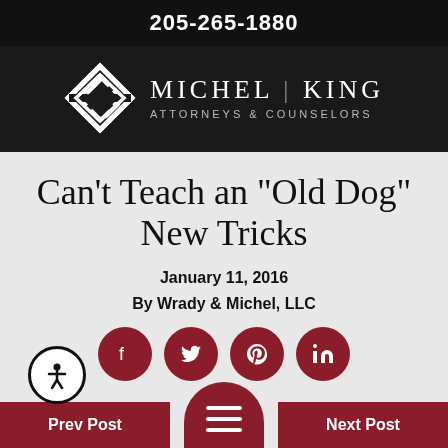205-265-1880
[Figure (logo): Michel | King Attorneys & Counselors logo with diamond/chevron geometric icon on dark background]
Can't Teach an "Old Dog" New Tricks
January 11, 2016
By Wrady & Michel, LLC
[Figure (infographic): Row of four dark red circular social media icon buttons: Facebook, Twitter, Pinterest, LinkedIn]
[Figure (infographic): Bottom navigation bar with Prev Post button (dark red), hamburger menu circle (dark red, half-circle), Next Post button (dark red), and accessibility icon circle (white with person icon)]